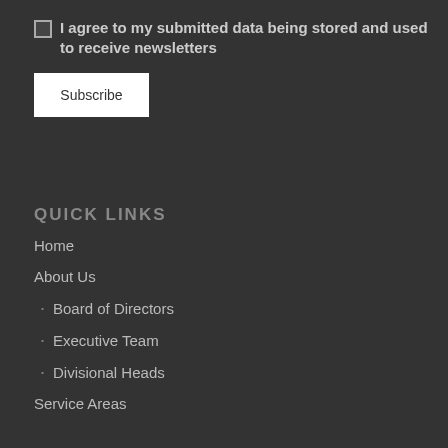I agree to my submitted data being stored and used to receive newsletters
Subscribe
QUICK LINKS
Home
About Us
· Board of Directors
· Executive Team
· Divisional Heads
Service Areas